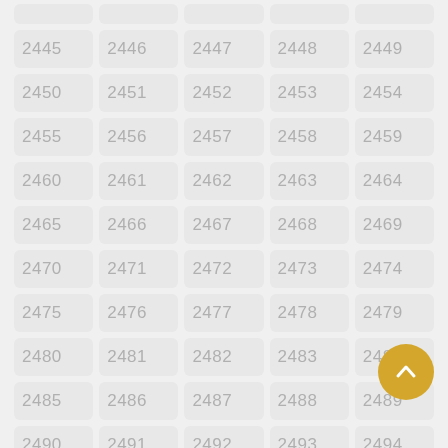|  |  |  |  |  |
| 2445 | 2446 | 2447 | 2448 | 2449 |
| 2450 | 2451 | 2452 | 2453 | 2454 |
| 2455 | 2456 | 2457 | 2458 | 2459 |
| 2460 | 2461 | 2462 | 2463 | 2464 |
| 2465 | 2466 | 2467 | 2468 | 2469 |
| 2470 | 2471 | 2472 | 2473 | 2474 |
| 2475 | 2476 | 2477 | 2478 | 2479 |
| 2480 | 2481 | 2482 | 2483 | 2484 |
| 2485 | 2486 | 2487 | 2488 | 2489 |
| 2490 | 2491 | 2492 | 2493 | 2494 |
|  |  |  |  |  |
[Figure (other): Gold/yellow circular FAB button with upward chevron arrow icon]